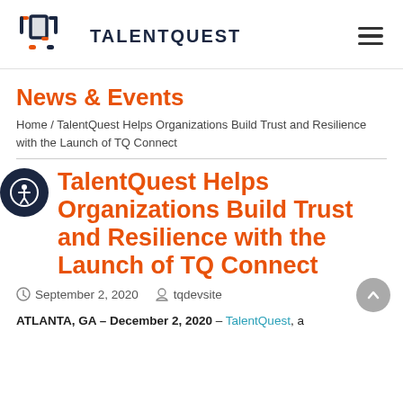[Figure (logo): TalentQuest logo with stylized T-Q icon and wordmark TALENTQUEST]
News & Events
Home / TalentQuest Helps Organizations Build Trust and Resilience with the Launch of TQ Connect
TalentQuest Helps Organizations Build Trust and Resilience with the Launch of TQ Connect
September 2, 2020   tqdevsite
ATLANTA, GA – December 2, 2020 – TalentQuest, a